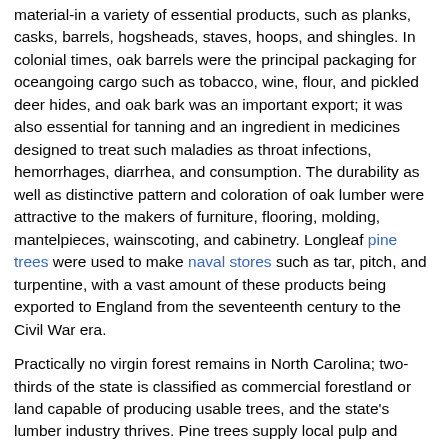material-in a variety of essential products, such as planks, casks, barrels, hogsheads, staves, hoops, and shingles. In colonial times, oak barrels were the principal packaging for oceangoing cargo such as tobacco, wine, flour, and pickled deer hides, and oak bark was an important export; it was also essential for tanning and an ingredient in medicines designed to treat such maladies as throat infections, hemorrhages, diarrhea, and consumption. The durability as well as distinctive pattern and coloration of oak lumber were attractive to the makers of furniture, flooring, molding, mantelpieces, wainscoting, and cabinetry. Longleaf pine trees were used to make naval stores such as tar, pitch, and turpentine, with a vast amount of these products being exported to England from the seventeenth century to the Civil War era.
Practically no virgin forest remains in North Carolina; two-thirds of the state is classified as commercial forestland or land capable of producing usable trees, and the state's lumber industry thrives. Pine trees supply local pulp and paper mills as well as some furniture producers. A variety of manufacturers use the state's mixed hardwoods to make flooring, cooperage, veneer, plywood, excelsior, furniture, fixtures, and railroad cross ties.